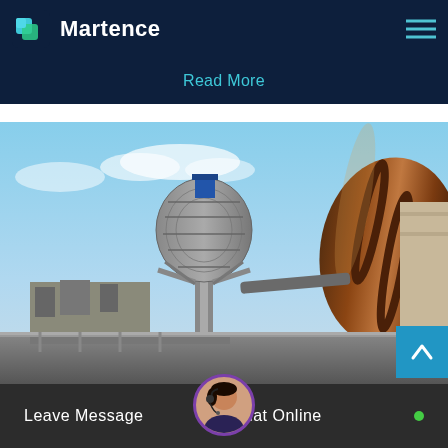Martence
Read More
[Figure (photo): Industrial facility photograph showing a large rotary kiln or cement production equipment in the foreground with a dome-shaped industrial tower structure in the background against a blue sky]
Leave Message
Chat Online